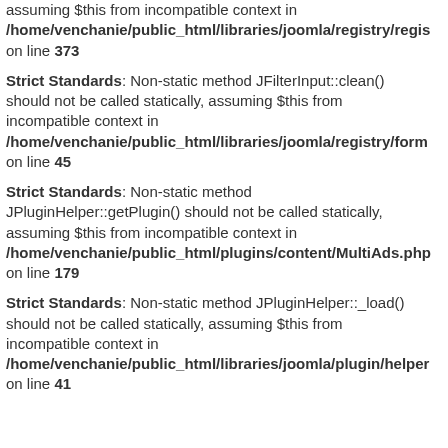assuming $this from incompatible context in /home/venchanie/public_html/libraries/joomla/registry/regis... on line 373
Strict Standards: Non-static method JFilterInput::clean() should not be called statically, assuming $this from incompatible context in /home/venchanie/public_html/libraries/joomla/registry/form... on line 45
Strict Standards: Non-static method JPluginHelper::getPlugin() should not be called statically, assuming $this from incompatible context in /home/venchanie/public_html/plugins/content/MultiAds.php... on line 179
Strict Standards: Non-static method JPluginHelper::_load() should not be called statically, assuming $this from incompatible context in /home/venchanie/public_html/libraries/joomla/plugin/helper... on line 41